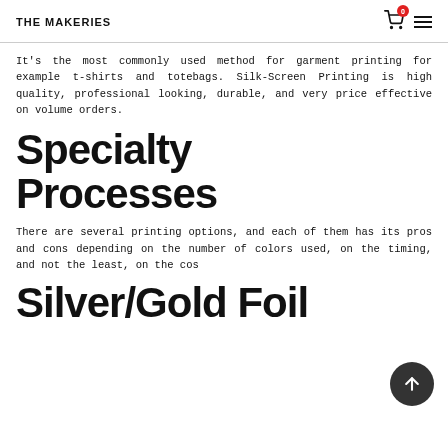THE MAKERIES
It's the most commonly used method for garment printing for example t-shirts and totebags. Silk-Screen Printing is high quality, professional looking, durable, and very price effective on volume orders.
Specialty Processes
There are several printing options, and each of them has its pros and cons depending on the number of colors used, on the timing, and not the least, on the cost.
Silver/Gold Foil